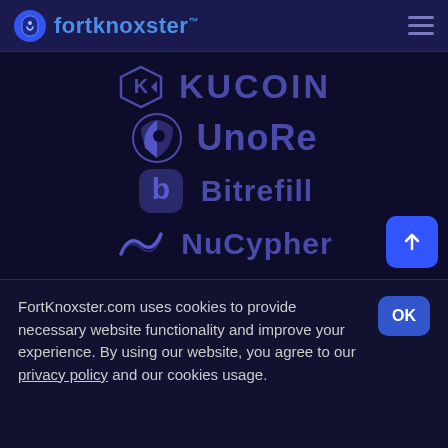fortknoxster
[Figure (logo): KuCoin logo with stylized K diamond icon and KUCOIN text in blue]
[Figure (logo): UnoRe logo with shield/puzzle icon and UnoRe text in blue]
[Figure (logo): Bitrefill logo with rounded square b icon and Bitrefill text in blue]
[Figure (logo): NuCypher logo with wave/nu symbol and NuCypher text in blue]
FortKnoxster.com uses cookies to provide necessary website functionality and improve your experience. By using our website, you agree to our privacy policy and our cookies usage.